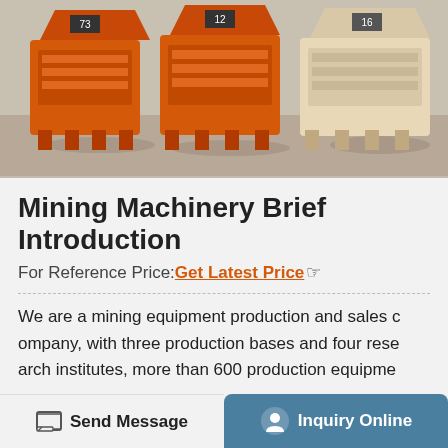[Figure (photo): Photo of orange and beige mining crusher machines parked on a concrete surface in a yard]
Mining Machinery Brief Introduction
For Reference Price: Get Latest Price
We are a mining equipment production and sales company, with three production bases and four research institutes, more than 600 production equipme